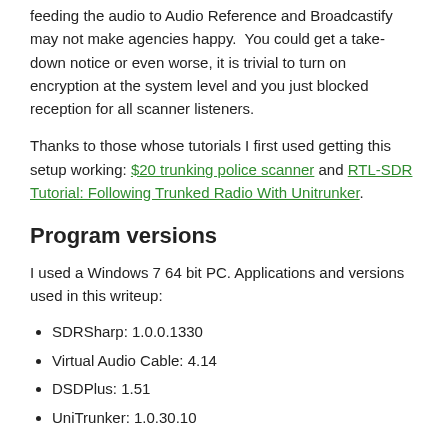feeding the audio to Audio Reference and Broadcastify may not make agencies happy. You could get a take-down notice or even worse, it is trivial to turn on encryption at the system level and you just blocked reception for all scanner listeners.
Thanks to those whose tutorials I first used getting this setup working: $20 trunking police scanner and RTL-SDR Tutorial: Following Trunked Radio With Unitrunker.
Program versions
I used a Windows 7 64 bit PC. Applications and versions used in this writeup:
SDRSharp: 1.0.0.1330
Virtual Audio Cable: 4.14
DSDPlus: 1.51
UniTrunker: 1.0.30.10